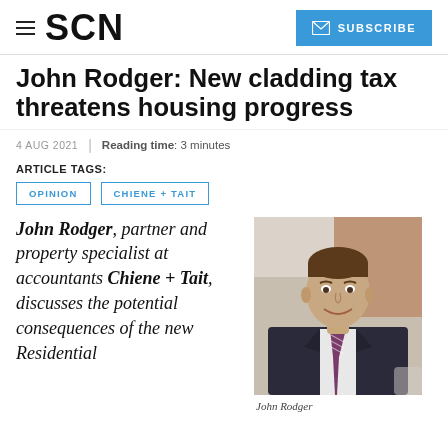SCN | SUBSCRIBE
John Rodger: New cladding tax threatens housing progress
4 AUG 2021 | Reading time: 3 minutes
ARTICLE TAGS:
OPINION
CHIENE + TAIT
John Rodger, partner and property specialist at accountants Chiene + Tait, discusses the potential consequences of the new Residential
[Figure (photo): Headshot of John Rodger, a man in a dark suit and striped tie, smiling, in an office setting]
John Rodger